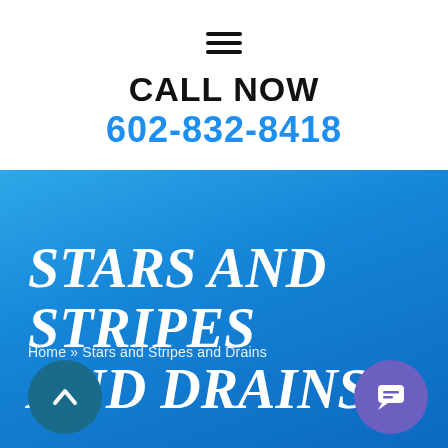[Figure (other): Hamburger menu icon (three horizontal lines)]
CALL NOW
602-832-8418
STARS AND STRIPES AND DRAINS
Home » Stars and Stripes and Drains
[Figure (other): Back-to-top button (teal circle with upward arrow)]
[Figure (other): Chat button (purple circle with chat bubble icon)]